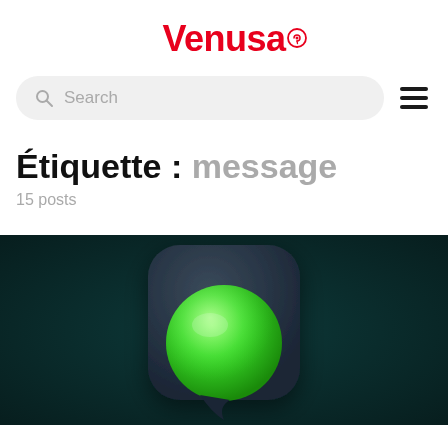Venusa
Search
Étiquette : message
15 posts
[Figure (photo): 3D rendered image of a glowing green circular button on a dark navy/teal rounded square shape, resembling a WhatsApp-style message bubble, on a dark teal background.]